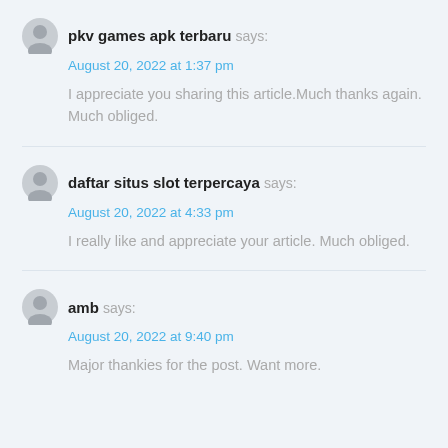pkv games apk terbaru says:
August 20, 2022 at 1:37 pm
I appreciate you sharing this article.Much thanks again. Much obliged.
daftar situs slot terpercaya says:
August 20, 2022 at 4:33 pm
I really like and appreciate your article. Much obliged.
amb says:
August 20, 2022 at 9:40 pm
Major thankies for the post. Want more.